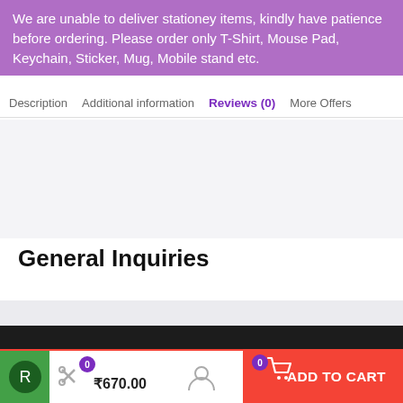We are unable to deliver stationey items, kindly have patience before ordering. Please order only T-Shirt, Mouse Pad, Keychain, Sticker, Mug, Mobile stand etc.
Description  Additional information  Reviews (0)  More Offers
General Inquiries
There are no inquiries yet.
₹670.00  ADD TO CART